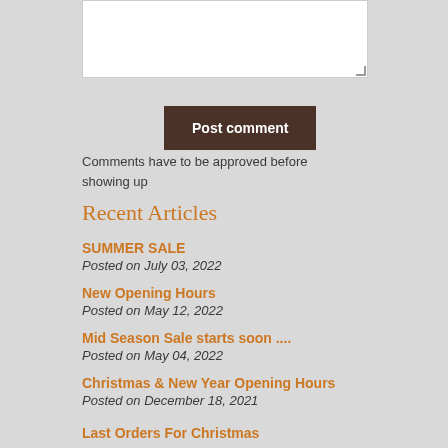[textarea input box]
Post comment
Comments have to be approved before showing up
Recent Articles
SUMMER SALE
Posted on July 03, 2022
New Opening Hours
Posted on May 12, 2022
Mid Season Sale starts soon ....
Posted on May 04, 2022
Christmas & New Year Opening Hours
Posted on December 18, 2021
Last Orders For Christmas